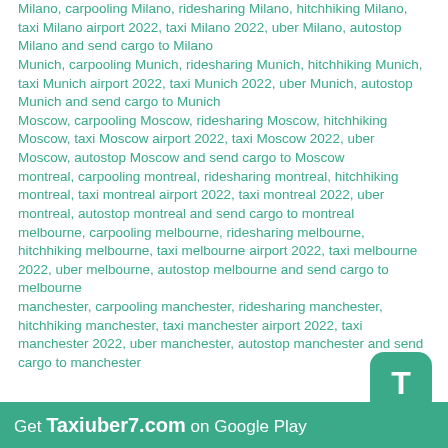Milano, carpooling Milano, ridesharing Milano, hitchhiking Milano, taxi Milano airport 2022, taxi Milano 2022, uber Milano, autostop Milano and send cargo to Milano Munich, carpooling Munich, ridesharing Munich, hitchhiking Munich, taxi Munich airport 2022, taxi Munich 2022, uber Munich, autostop Munich and send cargo to Munich Moscow, carpooling Moscow, ridesharing Moscow, hitchhiking Moscow, taxi Moscow airport 2022, taxi Moscow 2022, uber Moscow, autostop Moscow and send cargo to Moscow montreal, carpooling montreal, ridesharing montreal, hitchhiking montreal, taxi montreal airport 2022, taxi montreal 2022, uber montreal, autostop montreal and send cargo to montreal melbourne, carpooling melbourne, ridesharing melbourne, hitchhiking melbourne, taxi melbourne airport 2022, taxi melbourne 2022, uber melbourne, autostop melbourne and send cargo to melbourne manchester, carpooling manchester, ridesharing manchester, hitchhiking manchester, taxi manchester airport 2022, taxi manchester 2022, uber manchester, autostop manchester and send cargo to manchester
Get Taxiuber7.com on Google Play